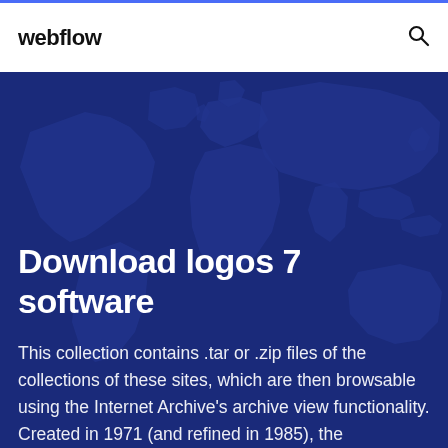webflow
Download logos 7 software
This collection contains .tar or .zip files of the collections of these sites, which are then browsable using the Internet Archive's archive view functionality. Created in 1971 (and refined in 1985), the